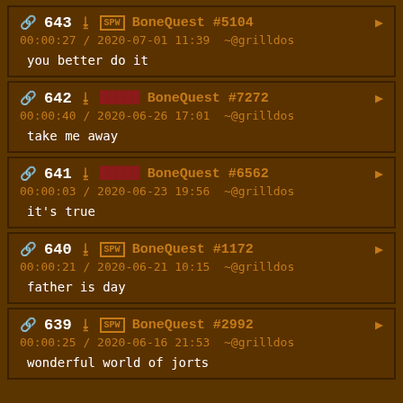643  BoneQuest #5104  00:00:27 / 2020-07-01 11:39  ~@grilldos  you better do it
642  BoneQuest #7272  00:00:40 / 2020-06-26 17:01  ~@grilldos  take me away
641  BoneQuest #6562  00:00:03 / 2020-06-23 19:56  ~@grilldos  it's true
640  BoneQuest #1172  00:00:21 / 2020-06-21 10:15  ~@grilldos  father is day
639  BoneQuest #2992  00:00:25 / 2020-06-16 21:53  ~@grilldos  wonderful world of jorts